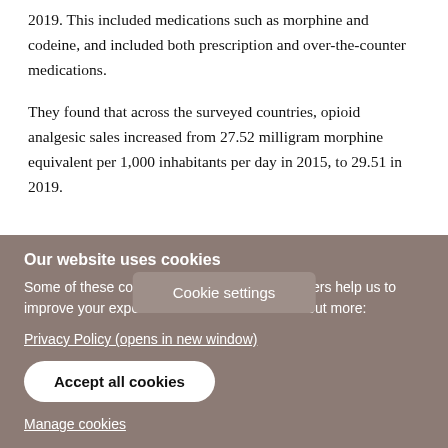2019. This included medications such as morphine and codeine, and included both prescription and over-the-counter medications.
They found that across the surveyed countries, opioid analgesic sales increased from 27.52 milligram morphine equivalent per 1,000 inhabitants per day in 2015, to 29.51 in 2019.
The highest rate wa... a, at 988 MMF per
Cookie settings
Our website uses cookies
Some of these cookies are essential, while others help us to improve your experience of our website. Find out more:
Privacy Policy (opens in new window)
Accept all cookies
Manage cookies